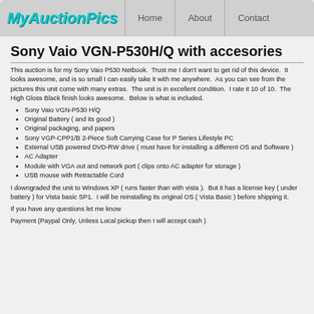MyAuctionPics | Home | About | Contact
Sony Vaio VGN-P530H/Q with accesories
This auction is for my Sony Vaio P530 Netbook.  Trust me I don't want to get rid of this device.  It looks awesome, and is so small I can easily take it with me anywhere.  As you can see from the pictures this unit come with many extras.  The unit is in excellent condition.  I rate it 10 of 10.  The High Gloss Black finish looks awesome.  Below is what is included.
Sony Vaio VGN-P530 H/Q
Original Battery ( and its good )
Original packaging, and papers
Sony VGP-CPP1/B 2-Piece Soft Carrying Case for P Series Lifestyle PC
External USB powered DVD-RW drive ( must have for installing a different OS and Software )
AC Adapter
Module with VGA out and network port ( clips onto AC adapter for storage )
USB mouse with Retractable Cord
I downgraded the unit to Windows XP ( runs faster than with vista ).  But it has a license key ( under battery ) for Vista basic SP1.  I will be reinstalling its original OS ( Vista Basic ) before shipping it.
If you have any questions let me know
Payment (Paypal Only, Unless Local pickup then I will accept cash )